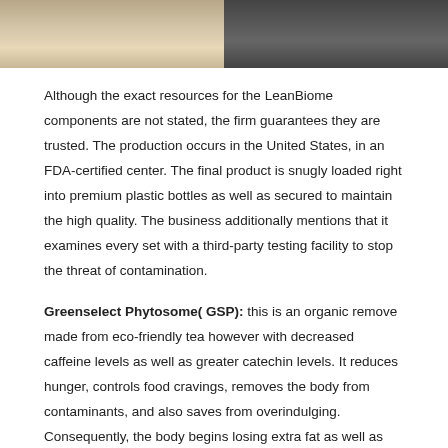[Figure (photo): Two side-by-side cropped photos showing body transformation; left photo shows lower body on tile floor background, right photo shows upper body with dark background]
Although the exact resources for the LeanBiome components are not stated, the firm guarantees they are trusted. The production occurs in the United States, in an FDA-certified center. The final product is snugly loaded right into premium plastic bottles as well as secured to maintain the high quality. The business additionally mentions that it examines every set with a third-party testing facility to stop the threat of contamination.
Greenselect Phytosome( GSP): this is an organic remove made from eco-friendly tea however with decreased caffeine levels as well as greater catechin levels. It reduces hunger, controls food cravings, removes the body from contaminants, and also saves from overindulging. Consequently, the body begins losing extra fat as well as maintains a healthy weight.